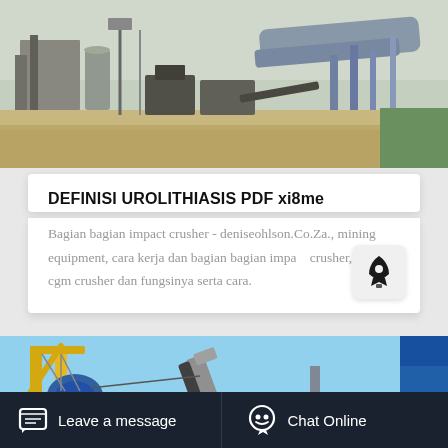[Figure (photo): Industrial facility with large cylindrical equipment, silos, and machinery on sandy ground with blue sky]
DEFINISI UROLITHIASIS PDF xi8me
Bagian bagian impact crusher - deniseohlson.Co.Za., mining equipment, cara kerja dan bagian bagian impact crusher,, bagian cgm crusher dan fungsinya serta cara.
[Figure (photo): Construction or mining equipment including yellow crane and conveyor belt against blue sky]
Leave a message   Chat Online